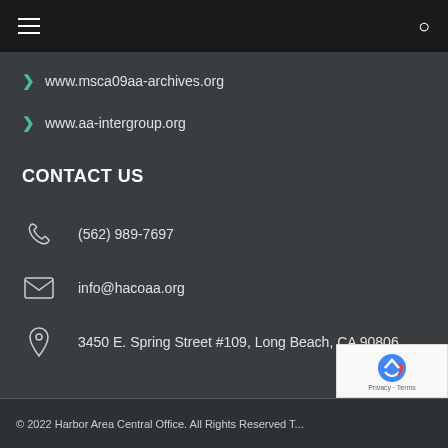≡  [hamburger menu] | [search icon]
www.msca09aa-archives.org
www.aa-intergroup.org
CONTACT US
(562) 989-7697
info@hacoaa.org
3450 E. Spring Street #109, Long Beach, CA 90806
© 2022 Harbor Area Central Office. All Rights Reserved T... | Privacy · Terms